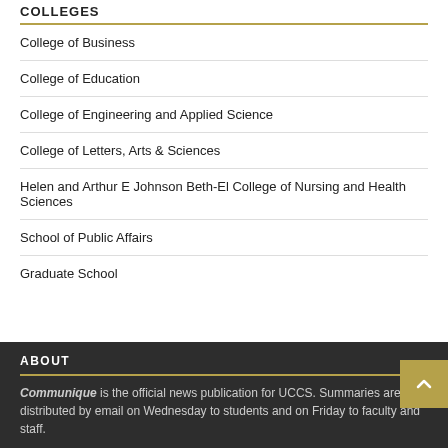COLLEGES
College of Business
College of Education
College of Engineering and Applied Science
College of Letters, Arts & Sciences
Helen and Arthur E Johnson Beth-El College of Nursing and Health Sciences
School of Public Affairs
Graduate School
ABOUT
Communique is the official news publication for UCCS. Summaries are distributed by email on Wednesday to students and on Friday to faculty and staff.